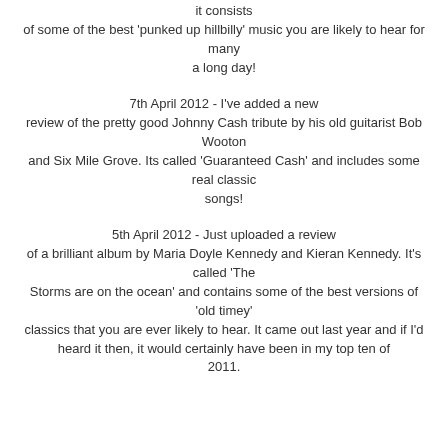it consists of some of the best 'punked up hillbilly' music you are likely to hear for many a long day!
7th April 2012 - I've added a new review of the pretty good Johnny Cash tribute by his old guitarist Bob Wooton and Six Mile Grove. Its called 'Guaranteed Cash' and includes some real classic songs!
5th April 2012 - Just uploaded a review of a brilliant album by Maria Doyle Kennedy and Kieran Kennedy. It's called 'The Storms are on the ocean' and contains some of the best versions of 'old timey' classics that you are ever likely to hear. It came out last year and if I'd heard it then, it would certainly have been in my top ten of 2011.